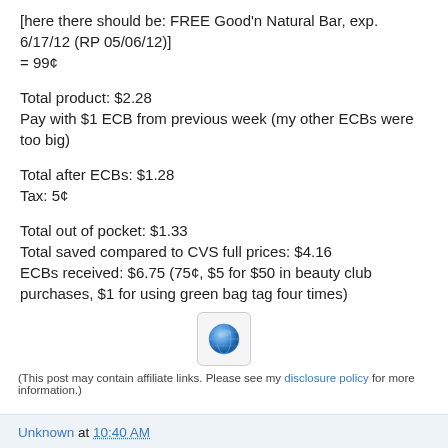[here there should be: FREE Good'n Natural Bar, exp. 6/17/12 (RP 05/06/12)]
= 99¢
Total product: $2.28
Pay with $1 ECB from previous week (my other ECBs were too big)
Total after ECBs: $1.28
Tax: 5¢
Total out of pocket: $1.33
Total saved compared to CVS full prices: $4.16
ECBs received: $6.75 (75¢, $5 for $50 in beauty club purchases, $1 for using green bag tag four times)
[Figure (illustration): Small blue globe/link icon image]
(This post may contain affiliate links. Please see my disclosure policy for more information.)
Unknown at 10:40 AM